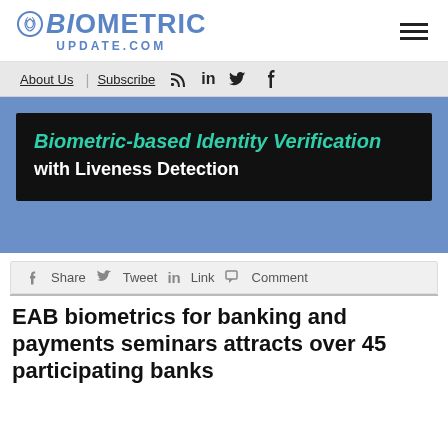BIOMETRIC UPDATE.COM
About Us | Subscribe
[Figure (screenshot): Advertisement banner: Biometric-based Identity Verification with Liveness Detection on dark background with blue surround]
Share  Tweet  Link  Comment
EAB biometrics for banking and payments seminars attracts over 45 participating banks